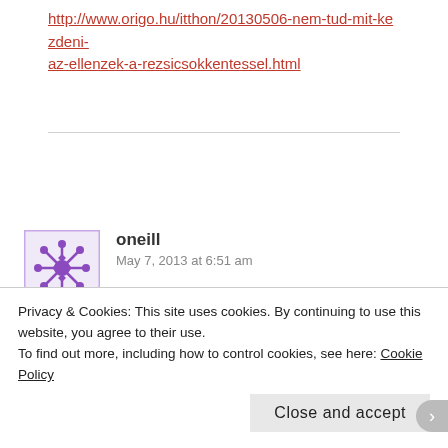http://www.origo.hu/itthon/20130506-nem-tud-mit-kezdeni-az-ellenzek-a-rezsicsokkentessel.html
oneill
May 7, 2013 at 6:51 am
Not completely OTT, 54,000 Hungarians migrate to Germany last year. Highest figure since 1995 and it would
Privacy & Cookies: This site uses cookies. By continuing to use this website, you agree to their use.
To find out more, including how to control cookies, see here: Cookie Policy
Close and accept